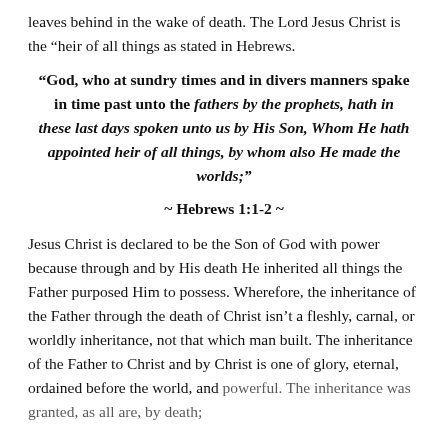leaves behind in the wake of death. The Lord Jesus Christ is the “heir of all things as stated in Hebrews.
“God, who at sundry times and in divers manners spake in time past unto the fathers by the prophets, hath in these last days spoken unto us by His Son, Whom He hath appointed heir of all things, by whom also He made the worlds;”
~ Hebrews 1:1-2 ~
Jesus Christ is declared to be the Son of God with power because through and by His death He inherited all things the Father purposed Him to possess. Wherefore, the inheritance of the Father through the death of Christ isn’t a fleshly, carnal, or worldly inheritance, not that which man built. The inheritance of the Father to Christ and by Christ is one of glory, eternal, ordained before the world, and powerful. The inheritance was granted, as all are, by death;